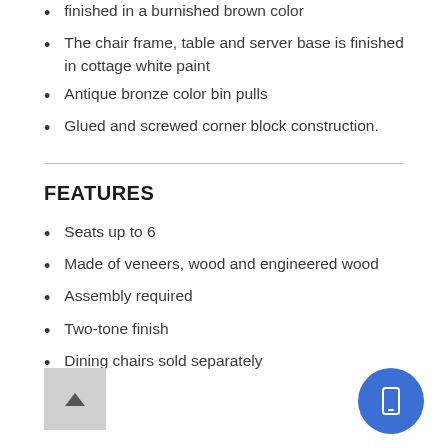finished in a burnished brown color
The chair frame, table and server base is finished in cottage white paint
Antique bronze color bin pulls
Glued and screwed corner block construction.
FEATURES
Seats up to 6
Made of veneers, wood and engineered wood
Assembly required
Two-tone finish
Dining chairs sold separately